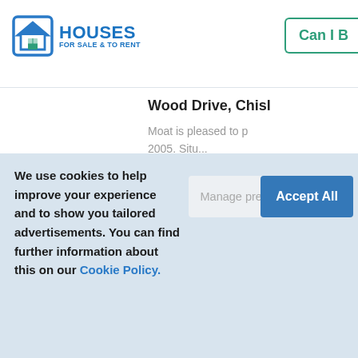[Figure (logo): Houses For Sale & To Rent logo with house icon]
Can I B
Wood Drive, Chisl
Moat is pleased to p
We use cookies to help improve your experience and to show you tailored advertisements. You can find further information about this on our Cookie Policy.
Manage preferences
Accept All